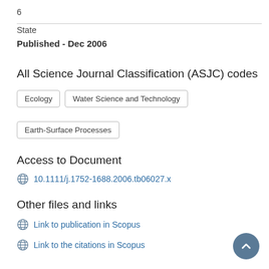6
State
Published - Dec 2006
All Science Journal Classification (ASJC) codes
Ecology
Water Science and Technology
Earth-Surface Processes
Access to Document
10.1111/j.1752-1688.2006.tb06027.x
Other files and links
Link to publication in Scopus
Link to the citations in Scopus